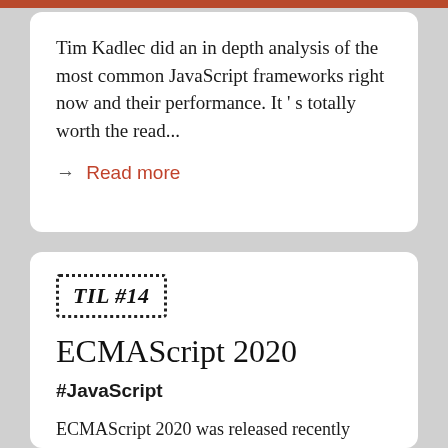Tim Kadlec did an in depth analysis of the most common JavaScript frameworks right now and their performance. It's totally worth the read...
→ Read more
[Figure (other): Dotted border stamp label reading 'TIL #14']
ECMAScript 2020
#JavaScript
ECMAScript 2020 was released recently